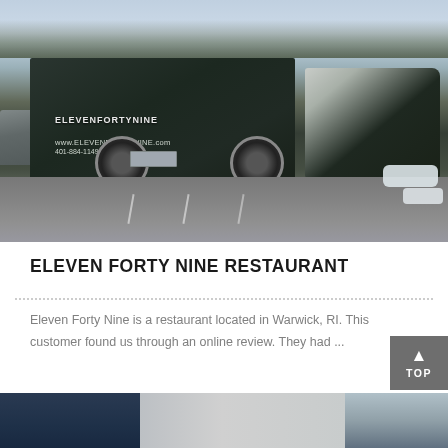[Figure (photo): A dark teal/green pickup truck with 'ELEVENFORTYNINE' branding on the side, parked in a lot with snow visible. The truck displays www.ELEVENFORTYWINE.com and phone number 401-884-1149. A gray minivan is visible to the left. Winter trees in background.]
ELEVEN FORTY NINE RESTAURANT
Eleven Forty Nine is a restaurant located in Warwick, RI. This customer found us through an online review. They had ...
[Figure (photo): Bottom portion of another photo showing what appears to be a building exterior with blue/dark siding and white garage door or wall panels, with a snowy or winter scene to the right.]